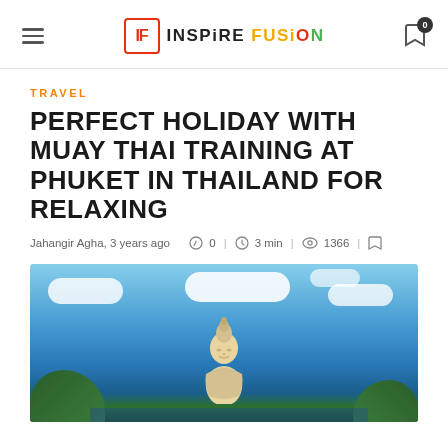INSPIRE FUSION — navigation header with logo and bookmark icon showing 0
TRAVEL
PERFECT HOLIDAY WITH MUAY THAI TRAINING AT PHUKET IN THAILAND FOR RELAXING
Jahangir Agha, 3 years ago   0   3 min   1366
[Figure (photo): White Buddha statue at Phuket, Thailand, with blue sky, white clouds, and green trees in the background near water]